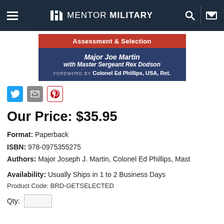Mentor Military
[Figure (illustration): Book cover banner showing 'Assessment & Selection' title with authors Major Joe Martin, Master Sergeant Rex Dodson, Foreword by Colonel Ed Phillips USA Ret.]
[Figure (other): Social sharing icons: Twitter, Email, Pinterest]
Our Price: $35.95
Format: Paperback
ISBN: 978-0975355275
Authors: Major Joseph J. Martin, Colonel Ed Phillips, Mast
Availability: Usually Ships in 1 to 2 Business Days
Product Code: BRD-GETSELECTED
Qty: